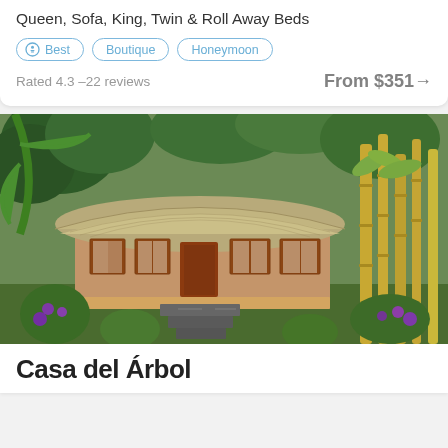Queen, Sofa, King, Twin & Roll Away Beds
Best
Boutique
Honeymoon
Rated 4.3 –22 reviews
From $351→
[Figure (photo): A thatched-roof bungalow surrounded by lush tropical vegetation including bamboo, palm trees, and flowering plants, with stone steps leading up to the entrance.]
Casa del Árbol